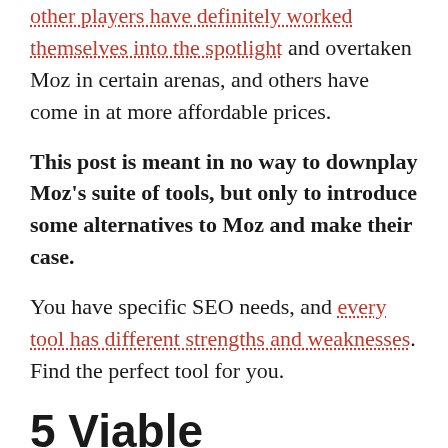other players have definitely worked themselves into the spotlight and overtaken Moz in certain arenas, and others have come in at more affordable prices.
This post is meant in no way to downplay Moz's suite of tools, but only to introduce some alternatives to Moz and make their case.
You have specific SEO needs, and every tool has different strengths and weaknesses. Find the perfect tool for you.
5 Viable Alternatives to Moz for SEO Success (Tried and Tested)